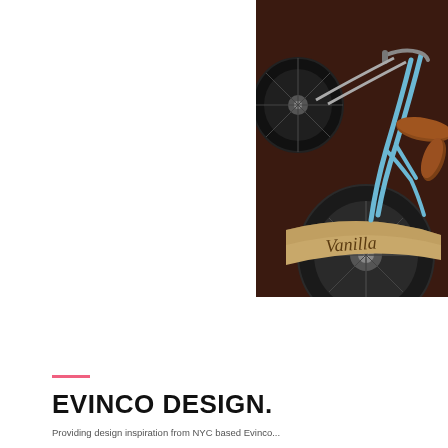[Figure (photo): A close-up photograph of a vintage-style tricycle or cargo bike with a light blue metal frame, brown leather saddle and roll, chrome spoked wheels, and a wide wooden platform board with the word 'Vanilla' written on it in script. The background is a dark brown/chocolate color.]
EVINCO DESIGN.
Providing design inspiration from NYC based Evinco...